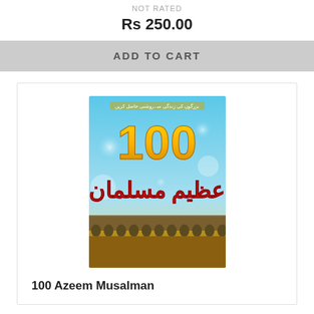NOT RATED
Rs 250.00
ADD TO CART
[Figure (photo): Book cover of '100 Azeem Musalman' showing large golden '100' text and Urdu script on a background of blue sky, bokeh lights, and a stone bridge/aqueduct in desert landscape]
100 Azeem Musalman